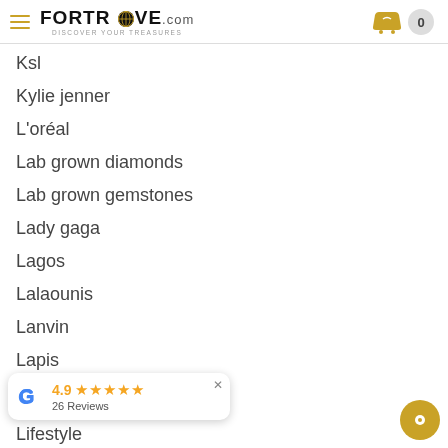FORTROVE.com — Discover Your Treasures, cart: 0
Ksl
Kylie jenner
L'oréal
Lab grown diamonds
Lab grown gemstones
Lady gaga
Lagos
Lalaounis
Lanvin
Lapis
[Figure (other): Google review badge showing 4.9 stars and 26 Reviews with close button]
Lifestyle